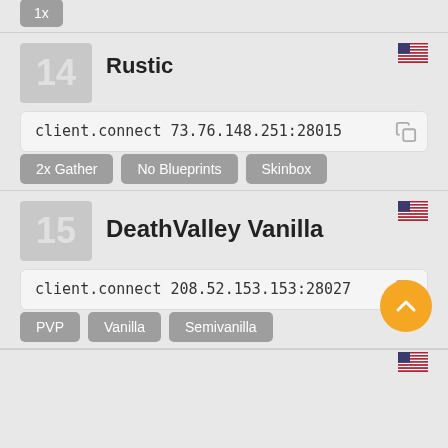1x
14 Rustic
client.connect 73.76.148.251:28015
2x Gather
No Blueprints
Skinbox
15 DeathValley Vanilla
client.connect 208.52.153.153:28027
PVP
Vanilla
Semivanilla